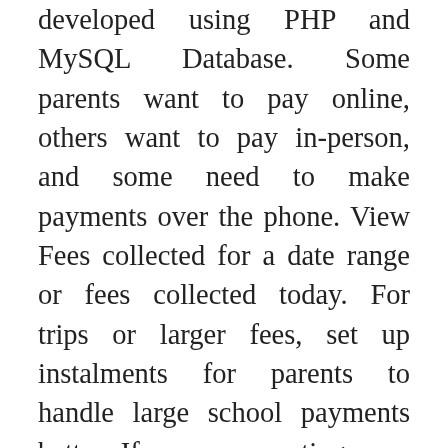developed using PHP and MySQL Database. Some parents want to pay online, others want to pay in-person, and some need to make payments over the phone. View Fees collected for a date range or fees collected today. For trips or larger fees, set up instalments for parents to handle large school payments better. If you are creating your account for the first time, you will be asked to setup your students in the Student Profile. They always know the right thing to say! The online payment solution is provided by Montgomery County Public schools as an additional, convenient, and secure payment option. School Management System: This School Management System build using VB.Net in